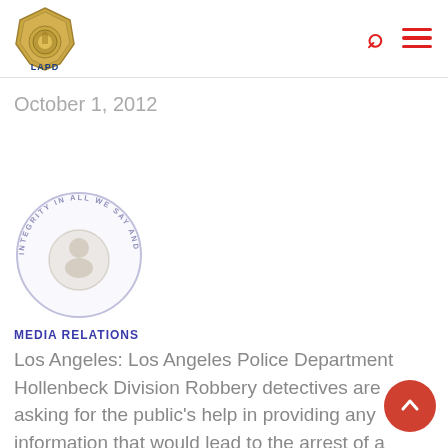LAPD — Los Angeles Police Department header with logo, search icon, and menu icon
October 1, 2012
[Figure (logo): LAPD Media Relations watermark badge — circular badge with 'INTEGRITY IN ALL WE SAY AND DO' text and shield image, labeled MEDIA RELATIONS in blue below]
Los Angeles: Los Angeles Police Department Hollenbeck Division Robbery detectives are asking for the public's help in providing any information that would lead to the arrest of a